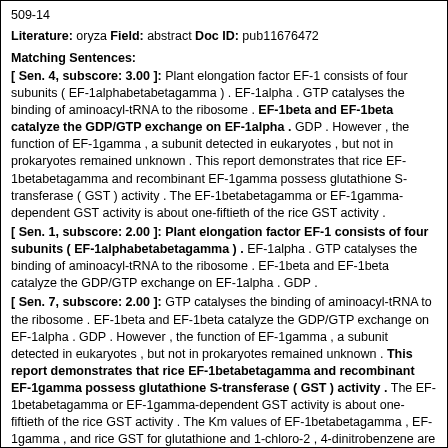509-14
Literature: oryza Field: abstract Doc ID: pub11676472
Matching Sentences:
[ Sen. 4, subscore: 3.00 ]: Plant elongation factor EF-1 consists of four subunits ( EF-1alphabetabetagamma ) . EF-1alpha . GTP catalyses the binding of aminoacyl-tRNA to the ribosome . EF-1beta and EF-1beta catalyze the GDP/GTP exchange on EF-1alpha . GDP . However , the function of EF-1gamma , a subunit detected in eukaryotes , but not in prokaryotes remained unknown . This report demonstrates that rice EF-1betabetagamma and recombinant EF-1gamma possess glutathione S-transferase ( GST ) activity . The EF-1betabetagamma or EF-1gamma-dependent GST activity is about one-fiftieth of the rice GST activity .
[ Sen. 1, subscore: 2.00 ]: Plant elongation factor EF-1 consists of four subunits ( EF-1alphabetabetagamma ) . EF-1alpha . GTP catalyses the binding of aminoacyl-tRNA to the ribosome . EF-1beta and EF-1beta catalyze the GDP/GTP exchange on EF-1alpha . GDP .
[ Sen. 7, subscore: 2.00 ]: GTP catalyses the binding of aminoacyl-tRNA to the ribosome . EF-1beta and EF-1beta catalyze the GDP/GTP exchange on EF-1alpha . GDP . However , the function of EF-1gamma , a subunit detected in eukaryotes , but not in prokaryotes remained unknown . This report demonstrates that rice EF-1betabetagamma and recombinant EF-1gamma possess glutathione S-transferase ( GST ) activity . The EF-1betabetagamma or EF-1gamma-dependent GST activity is about one-fiftieth of the rice GST activity . The Km values of EF-1betabetagamma , EF-1gamma , and rice GST for glutathione and 1-chloro-2 , 4-dinitrobenzene are of about the same order . Although recombinant EF-1gamma is heat labile , active EF-1gamma was obtained by purifying it in the presence of 20% glycerol .
[ Sen. 8, subscore: 2.00 ]: EF-1beta and EF-1beta catalyze the GDP/GTP exchange on EF-1alpha . GDP . However , the function of EF-1...